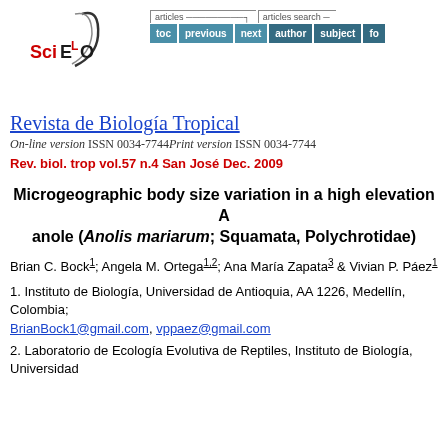[Figure (logo): SciELO logo with swoosh graphic and red/black text]
[Figure (screenshot): Navigation bar with articles and articles search sections containing buttons: toc, previous, next, author, subject, fo...]
Revista de Biología Tropical
On-line version ISSN 0034-7744Print version ISSN 0034-7744
Rev. biol. trop vol.57 n.4 San José Dec. 2009
Microgeographic body size variation in a high elevation A anole (Anolis mariarum; Squamata, Polychrotidae)
Brian C. Bock1; Angela M. Ortega1,2; Ana María Zapata3 & Vivian P. Páez1
1. Instituto de Biología, Universidad de Antioquia, AA 1226, Medellín, Colombia; BrianBock1@gmail.com, vppaez@gmail.com
2. Laboratorio de Ecología Evolutiva de Reptiles, Instituto de Biología, Universidad